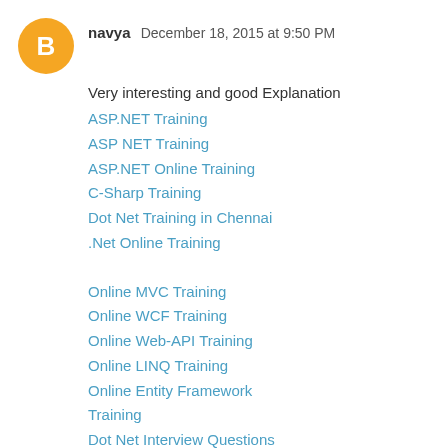[Figure (illustration): Blogger orange circular avatar icon with white 'B' letter]
navya  December 18, 2015 at 9:50 PM
Very interesting and good Explanation
ASP.NET Training
ASP NET Training
ASP.NET Online Training
C-Sharp Training
Dot Net Training in Chennai
.Net Online Training
Online MVC Training
Online WCF Training
Online Web-API Training
Online LINQ Training
Online Entity Framework Training
Dot Net Interview Questions
Reply